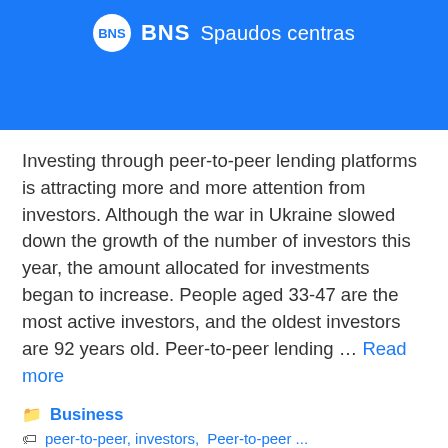[Figure (logo): BNS Spaudos centras logo on blue banner background]
Investing through peer-to-peer lending platforms is attracting more and more attention from investors. Although the war in Ukraine slowed down the growth of the number of investors this year, the amount allocated for investments began to increase. People aged 33-47 are the most active investors, and the oldest investors are 92 years old. Peer-to-peer lending … Read more
Business
peer-to-peer, investors, Peer-to-peer...